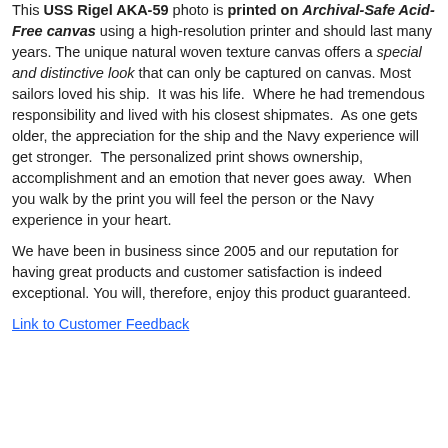This USS Rigel AKA-59 photo is printed on Archival-Safe Acid-Free canvas using a high-resolution printer and should last many years. The unique natural woven texture canvas offers a special and distinctive look that can only be captured on canvas. Most sailors loved his ship.  It was his life.  Where he had tremendous responsibility and lived with his closest shipmates.  As one gets older, the appreciation for the ship and the Navy experience will get stronger.  The personalized print shows ownership, accomplishment and an emotion that never goes away.  When you walk by the print you will feel the person or the Navy experience in your heart.
We have been in business since 2005 and our reputation for having great products and customer satisfaction is indeed exceptional. You will, therefore, enjoy this product guaranteed.
Link to Customer Feedback